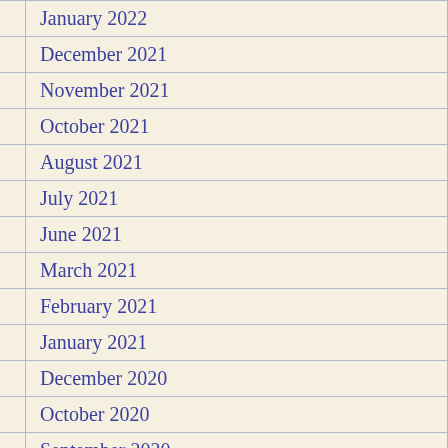January 2022
December 2021
November 2021
October 2021
August 2021
July 2021
June 2021
March 2021
February 2021
January 2021
December 2020
October 2020
September 2020
August 2020